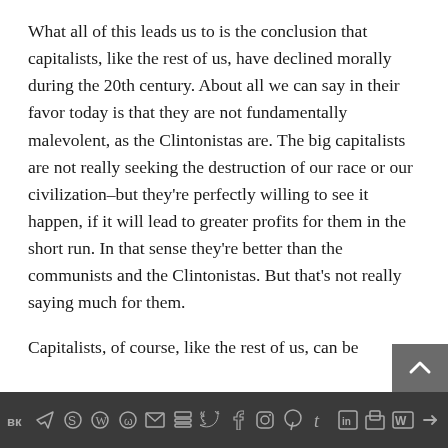What all of this leads us to is the conclusion that capitalists, like the rest of us, have declined morally during the 20th century. About all we can say in their favor today is that they are not fundamentally malevolent, as the Clintonistas are. The big capitalists are not really seeking the destruction of our race or our civilization–but they're perfectly willing to see it happen, if it will lead to greater profits for them in the short run. In that sense they're better than the communists and the Clintonistas. But that's not really saying much for them.
Capitalists, of course, like the rest of us, can be
[social media toolbar icons]